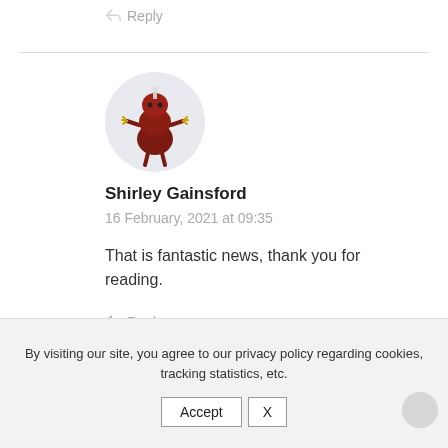Reply
[Figure (illustration): Circular avatar with a dark red cartoon character (Mr. Men style) on a light gray background]
Shirley Gainsford
16 February, 2021 at 09:35
That is fantastic news, thank you for reading.
Reply
By visiting our site, you agree to our privacy policy regarding cookies, tracking statistics, etc.